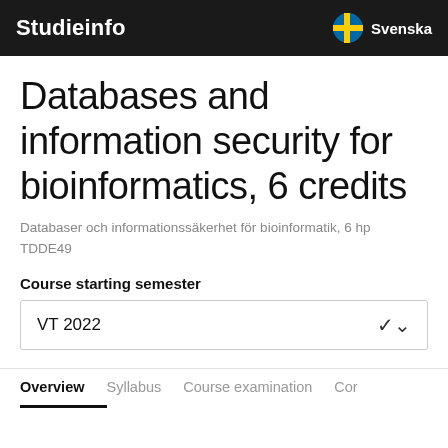Studieinfo | Svenska
Databases and information security for bioinformatics, 6 credits
Databaser och informationssäkerhet för bioinformatik, 6 hp
TDDE49
Course starting semester
VT 2022
Overview | Syllabus | Course examination | Cor